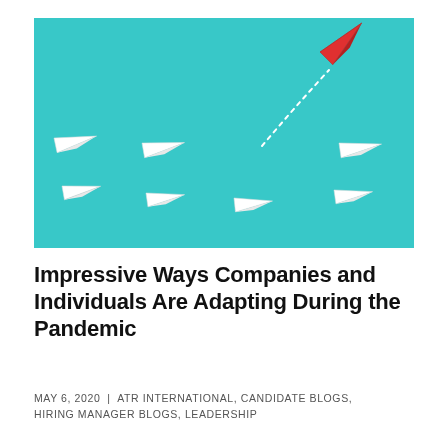[Figure (illustration): Photo on a cyan/turquoise background showing multiple white paper airplanes arranged in a diagonal formation with a single red paper airplane breaking away upward along a dotted curved path, symbolizing leadership and standing out from the crowd.]
Impressive Ways Companies and Individuals Are Adapting During the Pandemic
MAY 6, 2020  |  ATR INTERNATIONAL, CANDIDATE BLOGS, HIRING MANAGER BLOGS, LEADERSHIP